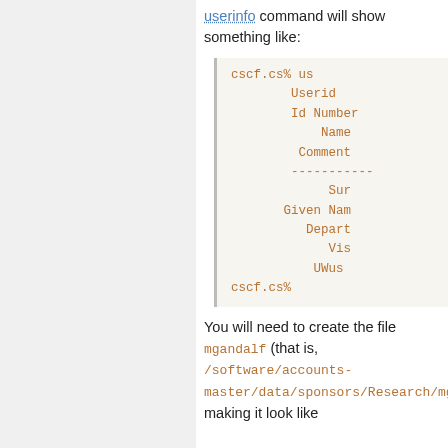userinfo command will show something like:
cscf.cs% us
    Userid
    Id Number
    Name
    Comment
    -----------
    Sur
    Given Nam
    Depart
    Vis
    UWus
cscf.cs%
You will need to create the file mgandalf (that is, /software/accounts-master/data/sponsors/Research/mgan making it look like